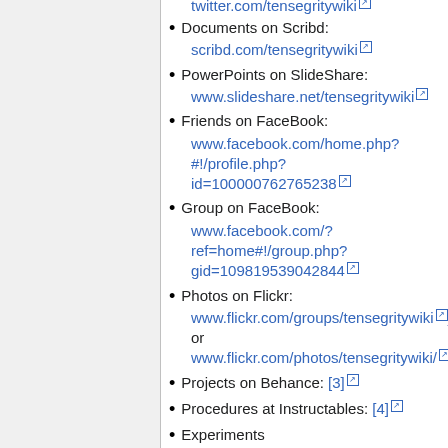Documents on Scribd: scribd.com/tensegritywiki
PowerPoints on SlideShare: www.slideshare.net/tensegritywiki
Friends on FaceBook: www.facebook.com/home.php?#!/profile.php?id=100000762765238
Group on FaceBook: www.facebook.com/?ref=home#!/group.php?gid=109819539042844
Photos on Flickr: www.flickr.com/groups/tensegritywiki or www.flickr.com/photos/tensegritywiki/
Projects on Behance: [3]
Procedures at Instructables: [4]
Experiments